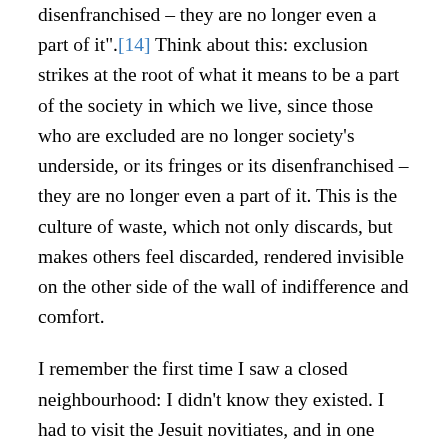disenfranchised – they are no longer even a part of it".[14] Think about this: exclusion strikes at the root of what it means to be a part of the society in which we live, since those who are excluded are no longer society's underside, or its fringes or its disenfranchised – they are no longer even a part of it. This is the culture of waste, which not only discards, but makes others feel discarded, rendered invisible on the other side of the wall of indifference and comfort.
I remember the first time I saw a closed neighbourhood: I didn't know they existed. I had to visit the Jesuit novitiates, and in one country, as I passed through the city, they told me: "You can't go to that part, because it is a closed neighbourhood". Inside, there were walls, houses and streets, but closed off: a neighbourhood living in indifference. I was quite struck by this. But afterwards